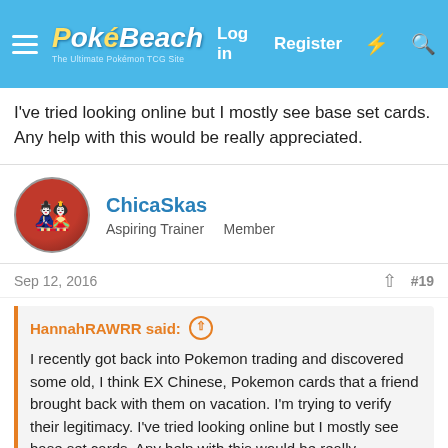PokéBeach — Log in  Register
I've tried looking online but I mostly see base set cards. Any help with this would be really appreciated.
ChicaSkas
Aspiring Trainer   Member
Sep 12, 2016
#19
HannahRAWRR said:
I recently got back into Pokemon trading and discovered some old, I think EX Chinese, Pokemon cards that a friend brought back with them on vacation. I'm trying to verify their legitimacy. I've tried looking online but I mostly see base set cards. Any help with this would be really appreciated.
If you can post pictures using Imgur or something that would help 🙂